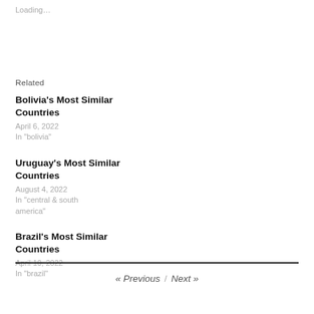Loading…
Related
Bolivia's Most Similar Countries
April 6, 2022
In "bolivia"
Uruguay's Most Similar Countries
August 4, 2022
In "central & south america"
Brazil's Most Similar Countries
April 10, 2022
In "brazil"
« Previous  /  Next »